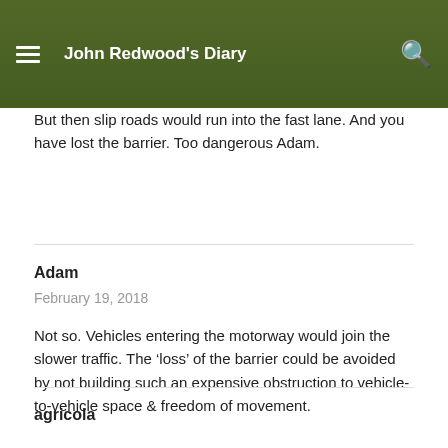John Redwood's Diary
But then slip roads would run into the fast lane. And you have lost the barrier. Too dangerous Adam.
Adam
February 19, 2018
Not so. Vehicles entering the motorway would join the slower traffic. The ‘loss’ of the barrier could be avoided by not building such an expensive obstruction to vehicle-to-vehicle space & freedom of movement.
agricola